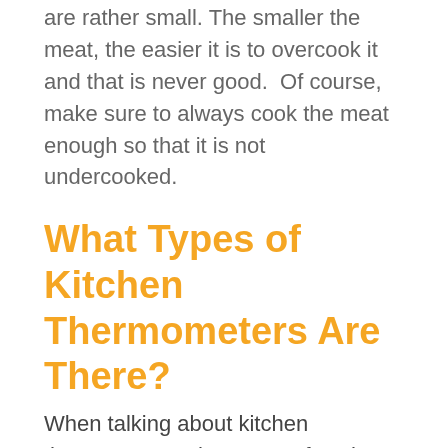are rather small. The smaller the meat, the easier it is to overcook it and that is never good. Of course, make sure to always cook the meat enough so that it is not undercooked.
What Types of Kitchen Thermometers Are There?
When talking about kitchen thermometers, there are a few that people talk about. The first digital food thermometer that people talk about is the fixed probe